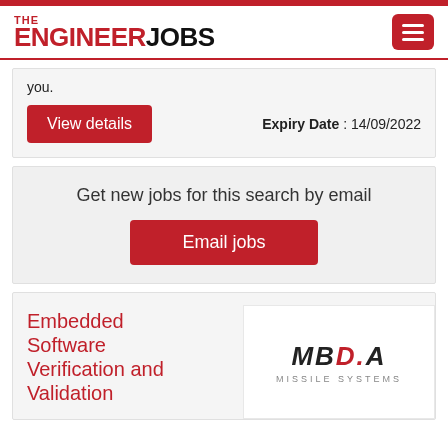THE ENGINEER JOBS
you.
Expiry Date : 14/09/2022
View details
Get new jobs for this search by email
Email jobs
Embedded Software Verification and Validation
[Figure (logo): MBDA Missile Systems logo]